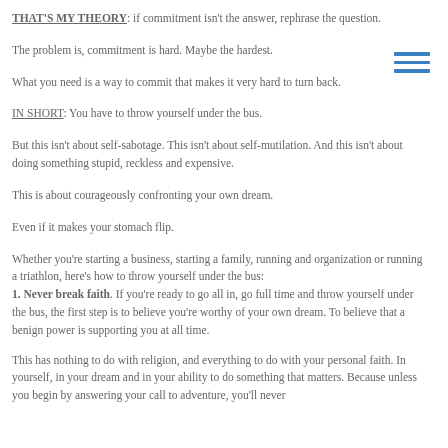THAT'S MY THEORY: if commitment isn't the answer, rephrase the question.
The problem is, commitment is hard. Maybe the hardest.
What you need is a way to commit that makes it very hard to turn back.
IN SHORT: You have to throw yourself under the bus.
But this isn't about self-sabotage. This isn't about self-mutilation. And this isn't about doing something stupid, reckless and expensive.
This is about courageously confronting your own dream.
Even if it makes your stomach flip.
Whether you're starting a business, starting a family, running and organization or running a triathlon, here's how to throw yourself under the bus:
1. Never break faith. If you're ready to go all in, go full time and throw yourself under the bus, the first step is to believe you're worthy of your own dream. To believe that a benign power is supporting you at all time.
This has nothing to do with religion, and everything to do with your personal faith. In yourself, in your dream and in your ability to do something that matters. Because unless you begin by answering your call to adventure, you'll never